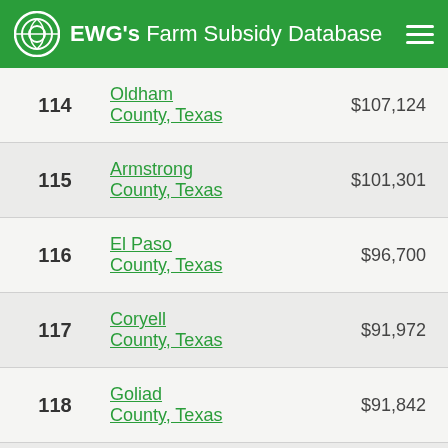EWG's Farm Subsidy Database
| Rank | County | Amount |
| --- | --- | --- |
| 114 | Oldham County, Texas | $107,124 |
| 115 | Armstrong County, Texas | $101,301 |
| 116 | El Paso County, Texas | $96,700 |
| 117 | Coryell County, Texas | $91,972 |
| 118 | Goliad County, Texas | $91,842 |
| 119 | Pecos County, Texas | $90,590 |